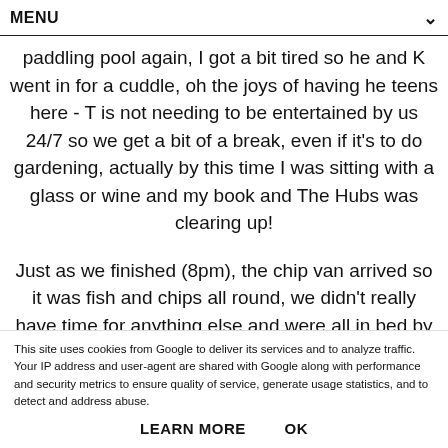MENU
paddling pool again, I got a bit tired so he and K went in for a cuddle, oh the joys of having he teens here - T is not needing to be entertained by us 24/7 so we get a bit of a break, even if it's to do gardening, actually by this time I was sitting with a glass or wine and my book and The Hubs was clearing up!
Just as we finished (8pm), the chip van arrived so it was fish and chips all round, we didn't really have time for anything else and were all in bed by 10pm - must be the fresh air (although at the time of writing this it's 1pm as I'm now wide awake!!)
This site uses cookies from Google to deliver its services and to analyze traffic. Your IP address and user-agent are shared with Google along with performance and security metrics to ensure quality of service, generate usage statistics, and to detect and address abuse.
LEARN MORE    OK